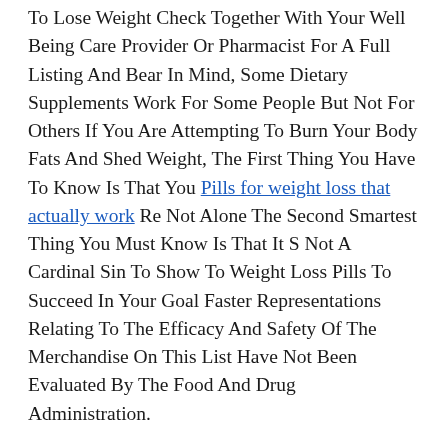To Lose Weight Check Together With Your Well Being Care Provider Or Pharmacist For A Full Listing And Bear In Mind, Some Dietary Supplements Work For Some People But Not For Others If You Are Attempting To Burn Your Body Fats And Shed Weight, The First Thing You Have To Know Is That You Pills for weight loss that actually work Re Not Alone The Second Smartest Thing You Must Know Is That It S Not A Cardinal Sin To Show To Weight Loss Pills To Succeed In Your Goal Faster Representations Relating To The Efficacy And Safety Of The Merchandise On This List Have Not Been Evaluated By The Food And Drug Administration.
It Is Important To Notice That A Variety Of The Effective Weight Loss Merchandise On The Market Have A Mixture Of Those Ingredients, Which Make Phenq A Truly Effective Diet Tablet Weight Loss Dietary Supplements